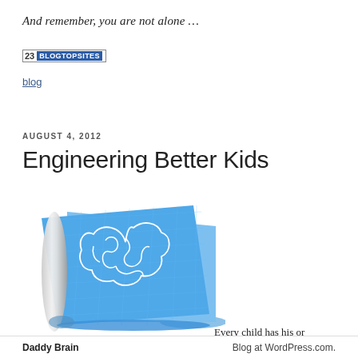And remember, you are not alone …
[Figure (logo): BlogTopSites badge showing number 23 and a blue label reading BLOGTOPSITES]
blog
AUGUST 4, 2012
Engineering Better Kids
[Figure (illustration): A rolled-up blueprint with a brain diagram drawn on it in white lines on blue background, suggesting engineering of the mind]
Every child has his or
Daddy Brain    Blog at WordPress.com.